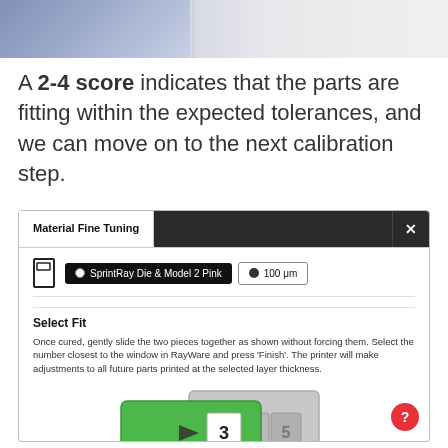[Figure (photo): Top portion of a blue/gray photo showing fabric or material, cropped at top of page]
A 2-4 score indicates that the parts are fitting within the expected tolerances, and we can move on to the next calibration step.
[Figure (screenshot): Material Fine Tuning dialog window showing Select Fit section with SprintRay Die & Model 2 Pink material and 100 μm layer setting, with a calibration fit diagram at the bottom showing green sliding piece with numbers 3, 4, 5]